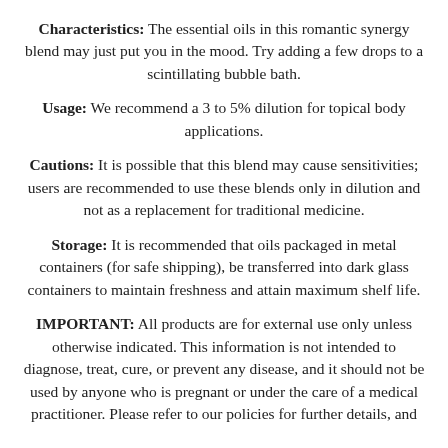Characteristics: The essential oils in this romantic synergy blend may just put you in the mood. Try adding a few drops to a scintillating bubble bath.
Usage: We recommend a 3 to 5% dilution for topical body applications.
Cautions: It is possible that this blend may cause sensitivities; users are recommended to use these blends only in dilution and not as a replacement for traditional medicine.
Storage: It is recommended that oils packaged in metal containers (for safe shipping), be transferred into dark glass containers to maintain freshness and attain maximum shelf life.
IMPORTANT: All products are for external use only unless otherwise indicated. This information is not intended to diagnose, treat, cure, or prevent any disease, and it should not be used by anyone who is pregnant or under the care of a medical practitioner. Please refer to our policies for further details, and